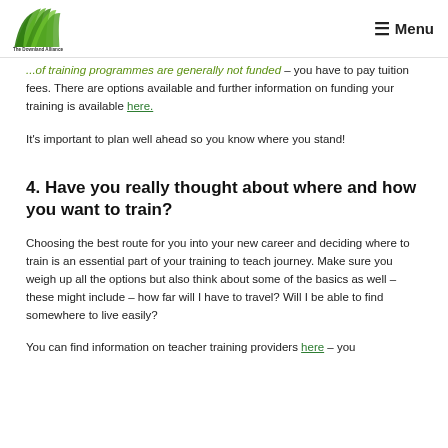The Downland Alliance | Menu
...of training programmes are generally not funded – you have to pay tuition fees. There are options available and further information on funding your training is available here.
It's important to plan well ahead so you know where you stand!
4. Have you really thought about where and how you want to train?
Choosing the best route for you into your new career and deciding where to train is an essential part of your training to teach journey. Make sure you weigh up all the options but also think about some of the basics as well – these might include – how far will I have to travel? Will I be able to find somewhere to live easily?
You can find information on teacher training providers here – you can also visit their sites to compare and search. Each school...